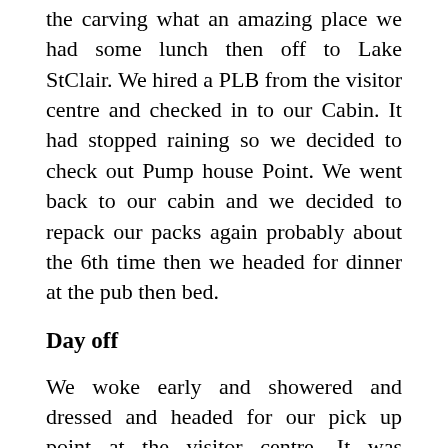the carving what an amazing place we had some lunch then off to Lake StClair. We hired a PLB from the visitor centre and checked in to our Cabin. It had stopped raining so we decided to check out Pump house Point. We went back to our cabin and we decided to repack our packs again probably about the 6th time then we headed for dinner at the pub then bed.
Day off
We woke early and showered and dressed and headed for our pick up point at the visitor centre. It was drizzling and looking set in, but the forecast had said for rain clearing and fine for Tuesday but still a chance of snow on Wednesday before clearing. There were 5 other people catching the transfer. There was a couple from Melbourne that were starting the next day, two Brothers from Sydney that were starting